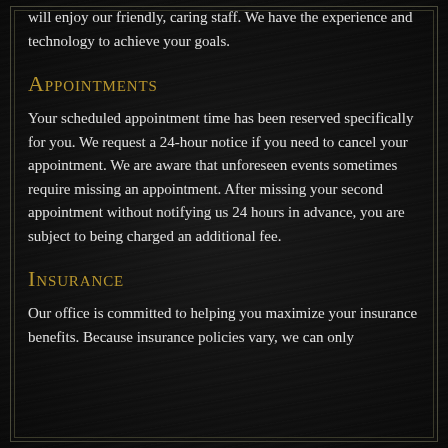will enjoy our friendly, caring staff. We have the experience and technology to achieve your goals.
Appointments
Your scheduled appointment time has been reserved specifically for you. We request a 24-hour notice if you need to cancel your appointment. We are aware that unforeseen events sometimes require missing an appointment. After missing your second appointment without notifying us 24 hours in advance, you are subject to being charged an additional fee.
Insurance
Our office is committed to helping you maximize your insurance benefits. Because insurance policies vary, we can only